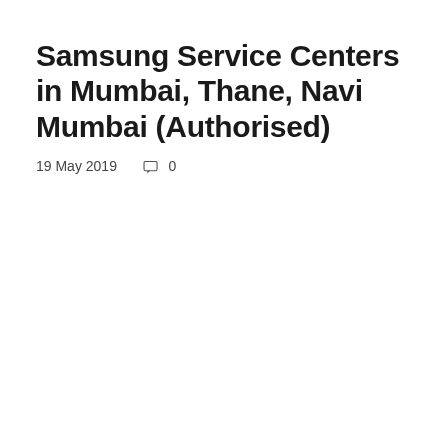Samsung Service Centers in Mumbai, Thane, Navi Mumbai (Authorised)
19 May 2019    □ 0